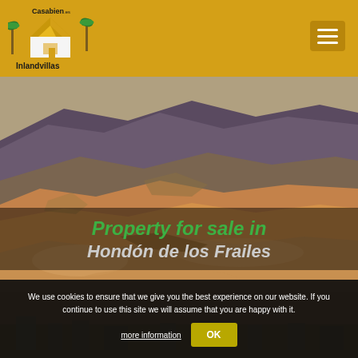[Figure (logo): Casabien Inlandvillas logo with palm trees and house illustration on golden/yellow background header]
[Figure (photo): Aerial landscape photo of arid hillside terrain in Hondón de los Frailes, Spain, with dry brown and red hills]
Property for sale in Hondón de los Frailes
We use cookies to ensure that we give you the best experience on our website. If you continue to use this site we will assume that you are happy with it.  more information  OK